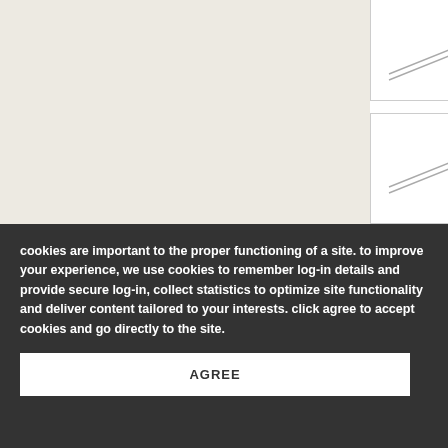[Figure (screenshot): Partial map view with light beige/off-white background and two white panel cards on the right side containing grey diagonal line graphics]
cookies are important to the proper functioning of a site. to improve your experience, we use cookies to remember log-in details and provide secure log-in, collect statistics to optimize site functionality and deliver content tailored to your interests. click agree to accept cookies and go directly to the site.
AGREE